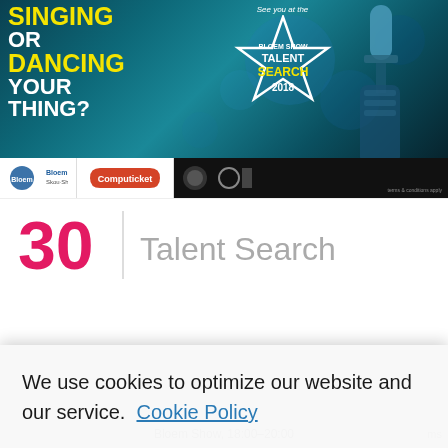[Figure (illustration): Bloem Show Talent Search 2018 promotional banner with text 'SINGING OR DANCING YOUR THING?' on the left, a star graphic in the center with 'See you at the BLOEM SHOW TALENT SEARCH 2018', a microphone on the right, and sponsor logos (Bloem Show, Computicket) along the bottom strip.]
30    Talent Search
We use cookies to optimize our website and our service.  Cookie Policy
Dismiss
Accept
Bloem Show, 18:00–20:00